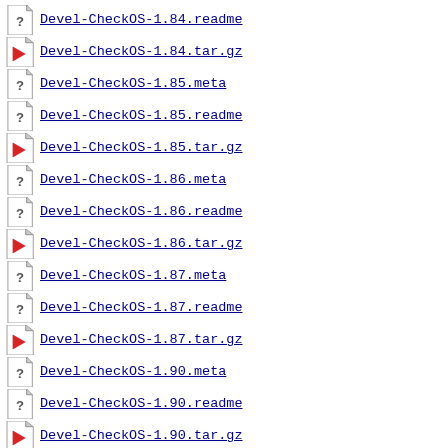Devel-CheckOS-1.84.readme
Devel-CheckOS-1.84.tar.gz
Devel-CheckOS-1.85.meta
Devel-CheckOS-1.85.readme
Devel-CheckOS-1.85.tar.gz
Devel-CheckOS-1.86.meta
Devel-CheckOS-1.86.readme
Devel-CheckOS-1.86.tar.gz
Devel-CheckOS-1.87.meta
Devel-CheckOS-1.87.readme
Devel-CheckOS-1.87.tar.gz
Devel-CheckOS-1.90.meta
Devel-CheckOS-1.90.readme
Devel-CheckOS-1.90.tar.gz
Devel-CheckOS-1.91.meta
Devel-CheckOS-1.91.readme
Devel-CheckOS-1.91.tar.gz